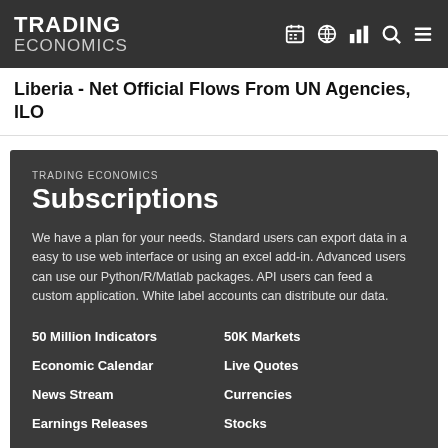TRADING ECONOMICS
Liberia - Net Official Flows From UN Agencies, ILO
TRADING ECONOMICS Subscriptions
We have a plan for your needs. Standard users can export data in a easy to use web interface or using an excel add-in. Advanced users can use our Python/R/Matlab packages. API users can feed a custom application. White label accounts can distribute our data.
50 Million Indicators
50K Markets
Economic Calendar
Live Quotes
News Stream
Currencies
Earnings Releases
Stocks
Credit Ratings
Commodities